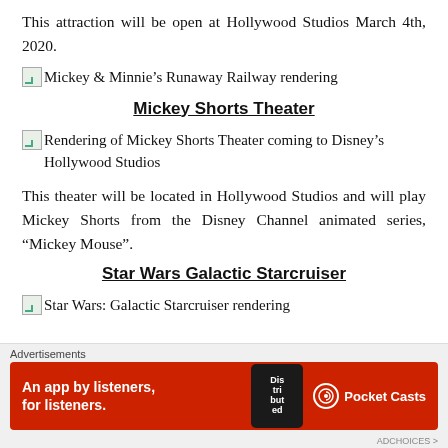This attraction will be open at Hollywood Studios March 4th, 2020.
[Figure (photo): Mickey & Minnie's Runaway Railway rendering (broken image placeholder)]
Mickey Shorts Theater
[Figure (photo): Rendering of Mickey Shorts Theater coming to Disney's Hollywood Studios (broken image placeholder)]
This theater will be located in Hollywood Studios and will play Mickey Shorts from the Disney Channel animated series, "Mickey Mouse".
Star Wars Galactic Starcruiser
[Figure (photo): Star Wars: Galactic Starcruiser rendering (broken image placeholder)]
Advertisements
[Figure (screenshot): Pocket Casts advertisement: An app by listeners, for listeners.]